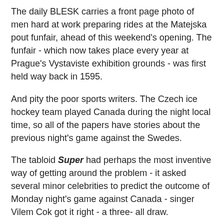The daily BLESK carries a front page photo of men hard at work preparing rides at the Matejska pout funfair, ahead of this weekend's opening. The funfair - which now takes place every year at Prague's Vystaviste exhibition grounds - was first held way back in 1595.
And pity the poor sports writers. The Czech ice hockey team played Canada during the night local time, so all of the papers have stories about the previous night's game against the Swedes.
The tabloid Super had perhaps the most inventive way of getting around the problem - it asked several minor celebrities to predict the outcome of Monday night's game against Canada - singer Vilem Cok got it right - a three- all draw.
Author:  Ian Willoughby